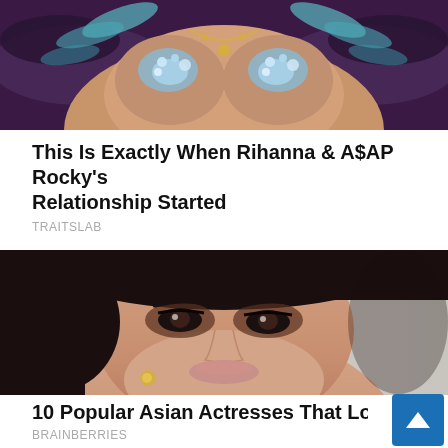[Figure (photo): Cropped photo of a performer in a jeweled/crystal bra with feathered wings, dark purple and teal background]
This Is Exactly When Rihanna & A$AP Rocky's Relationship Started
TRAITSLAB
[Figure (photo): Close-up portrait photo of a woman with dark hair pulled back, heavy eye makeup, looking upward, against a grey background]
10 Popular Asian Actresses That Look Irresist
BRAINBERRIES